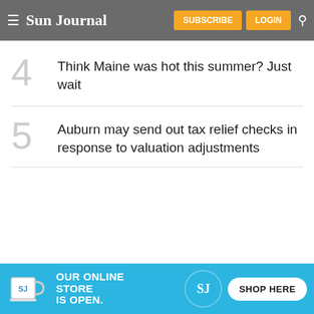Sun Journal — SUBSCRIBE  LOGIN
4  Think Maine was hot this summer? Just wait
5  Auburn may send out tax relief checks in response to valuation adjustments
[Figure (infographic): Advertisement banner: OUR ONLINE STORE IS OPEN. with Sun Journal mug and SHOP HERE button]